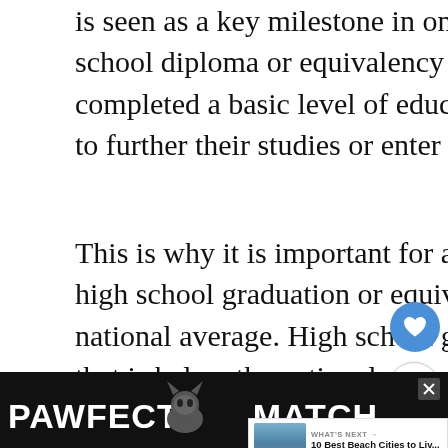is seen as a key milestone in one's education. Earning a high school diploma or equivalency shows that a student has completed a basic level of education and is ready to move on to further their studies or enter the workforce.
This is why it is important for a city to have above-average high school graduation or equivalency rate that is above the national average. High school graduation or equivalency rate that is below the national average can impact a city's education
[Figure (other): UI buttons: heart/favorite button (blue circle) and share button (white circle with share icon)]
[Figure (other): What's Next promotional widget showing '10 Best Beach Cities to Liv...' with a thumbnail image of a beach city]
[Figure (other): Advertisement banner: PAWFECT MATCH with a cat image on a dark background]